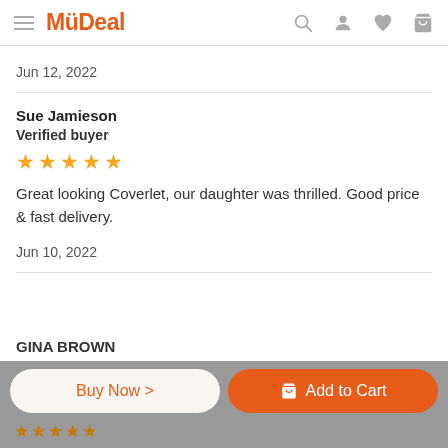MyDeal
Jun 12, 2022
Sue Jamieson
Verified buyer
[Figure (other): 5 orange star rating icons]
Great looking Coverlet, our daughter was thrilled. Good price & fast delivery.
Jun 10, 2022
GINA BROWN
Buy Now >
Add to Cart